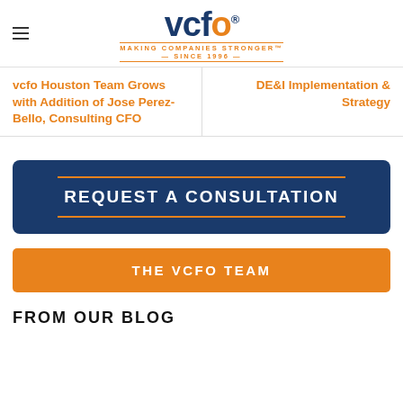vcfo — MAKING COMPANIES STRONGER SINCE 1996
vcfo Houston Team Grows with Addition of Jose Perez-Bello, Consulting CFO
DE&I Implementation & Strategy
REQUEST A CONSULTATION
THE VCFO TEAM
FROM OUR BLOG